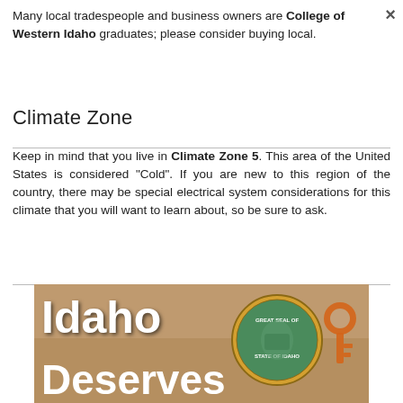Many local tradespeople and business owners are College of Western Idaho graduates; please consider buying local.
Climate Zone
Keep in mind that you live in Climate Zone 5. This area of the United States is considered "Cold". If you are new to this region of the country, there may be special electrical system considerations for this climate that you will want to learn about, so be sure to ask.
[Figure (illustration): Idaho Deserves promotional image with Idaho state seal and an orange key shape. Bold white text reads 'Idaho' and 'Deserves' over a warm brown background.]